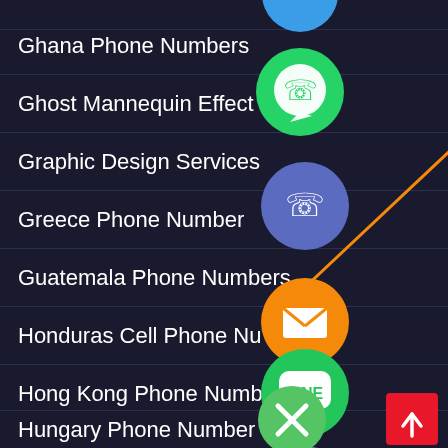Ghana Phone Numbers
Ghost Mannequin Effect
Graphic Design Services
Greece Phone Number
Guatemala Phone Numbers
Honduras Cell Phone Nu…
Hong Kong Phone Numb…
How it Work
Hungary Phone Number
[Figure (screenshot): Navigation/menu list on dark navy background with floating social media and communication app icons (WhatsApp, Phone/Viber blue, Email orange, LINE, Viber purple, close button green) overlaid on the right side of list items]